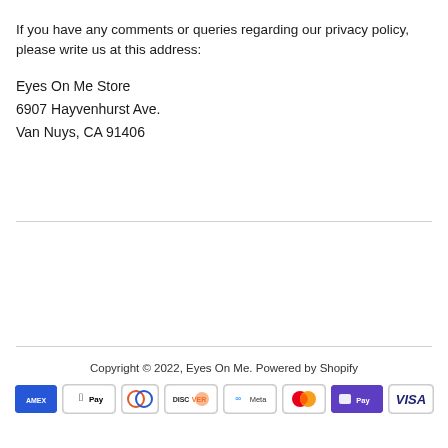If you have any comments or queries regarding our privacy policy, please write us at this address:
Eyes On Me Store
6907 Hayvenhurst Ave.
Van Nuys, CA 91406
Copyright © 2022, Eyes On Me. Powered by Shopify
[Figure (other): Payment method icons: American Express, Apple Pay, Diners Club, Discover, Meta Pay, Mastercard, Shop Pay, Visa]